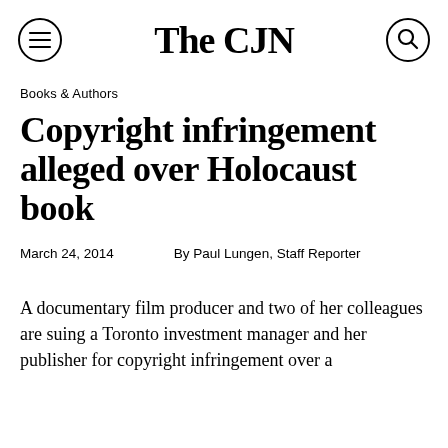The CJN
Books & Authors
Copyright infringement alleged over Holocaust book
March 24, 2014    By Paul Lungen, Staff Reporter
A documentary film producer and two of her colleagues are suing a Toronto investment manager and her publisher for copyright infringement over a